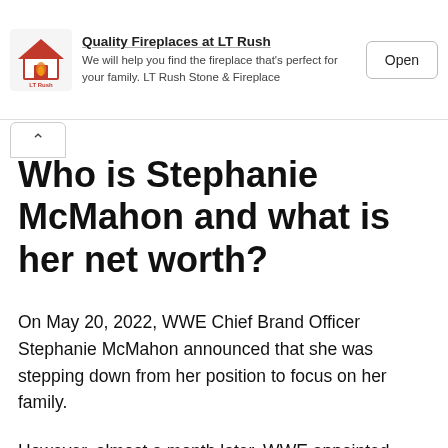[Figure (other): LT Rush advertisement banner with logo, text, and Open button]
Who is Stephanie McMahon and what is her net worth?
On May 20, 2022, WWE Chief Brand Officer Stephanie McMahon announced that she was stepping down from her position to focus on her family.
However, almost a month later, WWE appointed Vince McMahon's daughter as interim CEO and interim chairman amid an